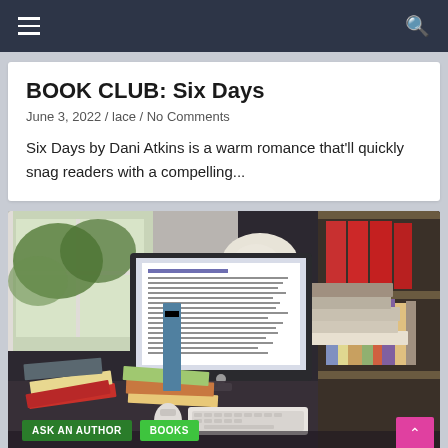Navigation bar with hamburger menu and search icon
BOOK CLUB: Six Days
June 3, 2022 / lace / No Comments
Six Days by Dani Atkins is a warm romance that'll quickly snag readers with a compelling...
[Figure (photo): A home office desk with an iMac computer displaying a document, books stacked on the desk, a lamp, a keyboard, and bookshelves with red binders in the background. Books are visible on the desk surface including colorful paperbacks.]
ASK AN AUTHOR   BOOKS